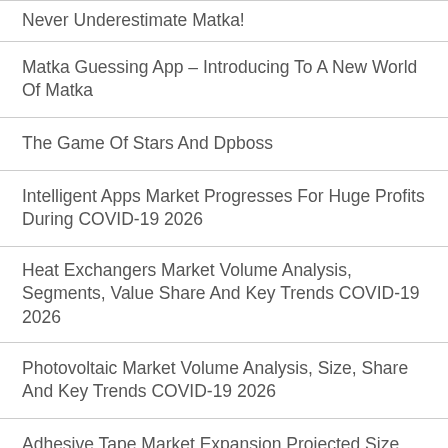Never Underestimate Matka!
Matka Guessing App – Introducing To A New World Of Matka
The Game Of Stars And Dpboss
Intelligent Apps Market Progresses For Huge Profits During COVID-19 2026
Heat Exchangers Market Volume Analysis, Segments, Value Share And Key Trends COVID-19 2026
Photovoltaic Market Volume Analysis, Size, Share And Key Trends COVID-19 2026
Adhesive Tape Market Expansion Projected Size Gain An Uptick During 2028 COVID-19